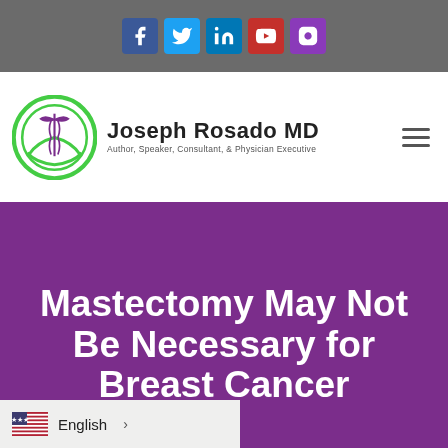[Figure (screenshot): Website header with social media icons (Facebook, Twitter, LinkedIn, YouTube, Instagram) on a gray bar]
[Figure (logo): Joseph Rosado MD logo with green caduceus circle and text 'Joseph Rosado MD - Author, Speaker, Consultant, & Physician Executive']
Mastectomy May Not Be Necessary for Breast Cancer